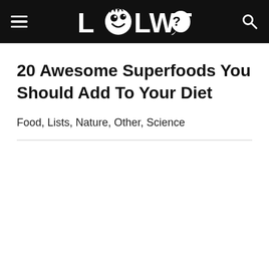LOLWOT
20 Awesome Superfoods You Should Add To Your Diet
Food, Lists, Nature, Other, Science